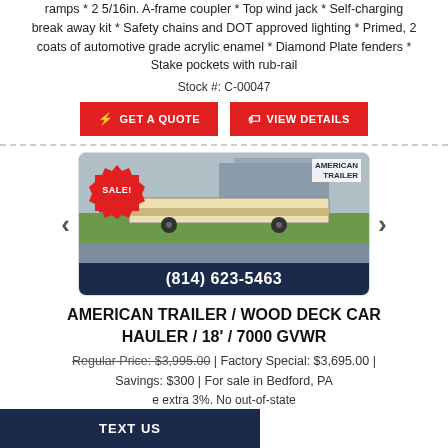ramps * 2 5/16in. A-frame coupler * Top wind jack * Self-charging break away kit * Safety chains and DOT approved lighting * Primed, 2 coats of automotive grade acrylic enamel * Diamond Plate fenders * Stake pockets with rub-rail
Stock #: C-00047
GET A QUOTE | VIEW DETAILS
[Figure (photo): Photo of a wood deck car hauler trailer with SALE! badge and American Trailer logo, phone number (814) 623-5463 shown in dark blue footer bar]
AMERICAN TRAILER / WOOD DECK CAR HAULER / 18' / 7000 GVWR
Regular Price: $3,995.00 | Factory Special: $3,695.00 | Savings: $300 | For sale in Bedford, PA
e extra 3%. No out-of-state
TEXT US